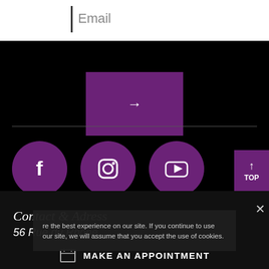Email
[Figure (screenshot): Purple submit button with right arrow]
[Figure (infographic): Three purple circular social media icons: Facebook, Instagram, YouTube]
Contact & Adress
56 Rue du Rhône
re the best experience on our site. If you continue to use our site, we will assume that you accept the use of cookies.
MAKE AN APPOINTMENT